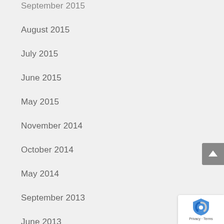September 2015
August 2015
July 2015
June 2015
May 2015
November 2014
October 2014
May 2014
September 2013
June 2013
May 2013
April 2013
February 2013